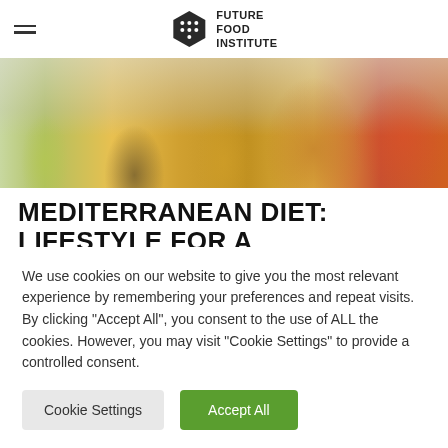Future Food Institute
[Figure (photo): Hero image showing people's lower bodies and a basket of colorful vegetables/peppers]
MEDITERRANEAN DIET: LIFESTYLE FOR A SUSTAINABLE FUTURE
UNESCO network of Emblematic Communities Italian delegation gifts seeds of the Mediterranean Diet for Bronx [...]
We use cookies on our website to give you the most relevant experience by remembering your preferences and repeat visits. By clicking "Accept All", you consent to the use of ALL the cookies. However, you may visit "Cookie Settings" to provide a controlled consent.